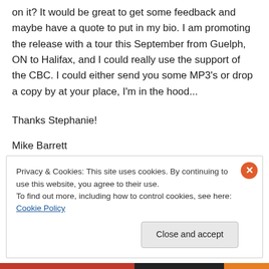on it? It would be great to get some feedback and maybe have a quote to put in my bio. I am promoting the release with a tour this September from Guelph, ON to Halifax, and I could really use the support of the CBC. I could either send you some MP3's or drop a copy by at your place, I'm in the hood...
Thanks Stephanie!
Mike Barrett
Privacy & Cookies: This site uses cookies. By continuing to use this website, you agree to their use.
To find out more, including how to control cookies, see here: Cookie Policy
Close and accept